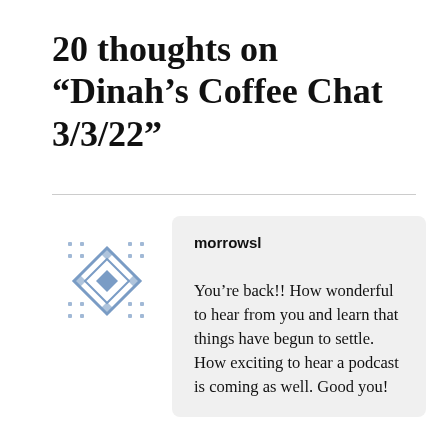20 thoughts on “Dinah’s Coffee Chat 3/3/22”
[Figure (illustration): Blue geometric diamond/rhombus pattern avatar icon used as commenter profile picture]
morrowsl

You’re back!! How wonderful to hear from you and learn that things have begun to settle. How exciting to hear a podcast is coming as well. Good you!